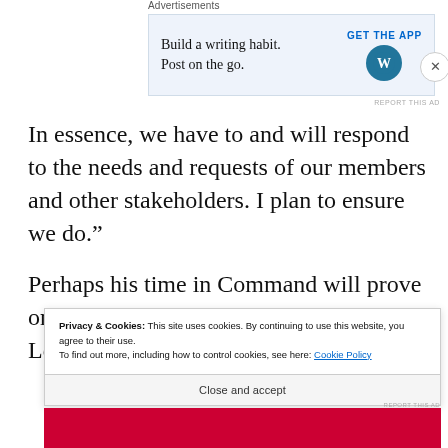Advertisements
[Figure (other): Advertisement banner: 'Build a writing habit. Post on the go.' with GET THE APP button and WordPress logo]
In essence, we have to and will respond to the needs and requests of our members and other stakeholders. I plan to ensure we do.”
Perhaps his time in Command will prove one of super vision and sound leadership. Let’s
Privacy & Cookies: This site uses cookies. By continuing to use this website, you agree to their use.
To find out more, including how to control cookies, see here: Cookie Policy
Close and accept